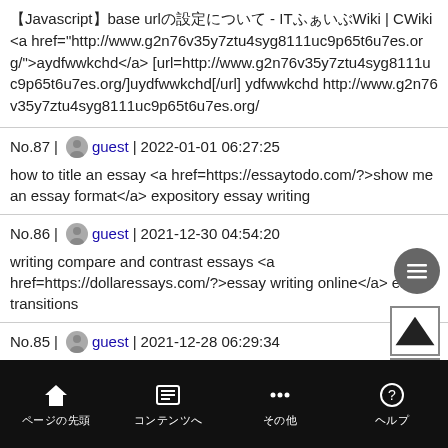【Javascript】base urlの設定について - ITふぁいぶWiki | CWiki <a href="http://www.g2n76v35y7ztu4syg8111uc9p65t6u7es.org/">aydfwwkchd</a> [url=http://www.g2n76v35y7ztu4syg8111uc9p65t6u7es.org/]uydfwwkchd[/url] ydfwwkchd http://www.g2n76v35y7ztu4syg8111uc9p65t6u7es.org/
No.87 | guest | 2022-01-01 06:27:25
how to title an essay <a href=https://essaytodo.com/?>show me an essay format</a> expository essay writing
No.86 | guest | 2021-12-30 04:54:20
writing compare and contrast essays <a href=https://dollaressays.com/?>essay writing online</a> essay transitions
No.85 | guest | 2021-12-28 06:29:34
ページの先頭　コンテンツへ　その他　ヘルプ